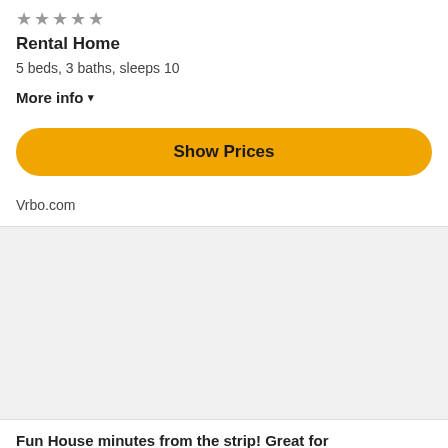[Figure (other): Star rating icons (gray stars), partially visible at top]
Rental Home
5 beds, 3 baths, sleeps 10
More info ▾
Show Prices
Vrbo.com
[Figure (other): Gray placeholder image area]
Fun House minutes from the strip! Great for groups/families. L...
89 reviews